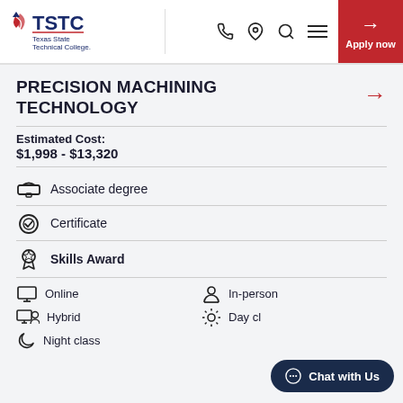TSTC Texas State Technical College — header with phone, location, search, menu, Apply now
PRECISION MACHINING TECHNOLOGY
Estimated Cost:
$1,998 - $13,320
Associate degree
Certificate
Skills Award
Online
In-person
Hybrid
Day class
Night class